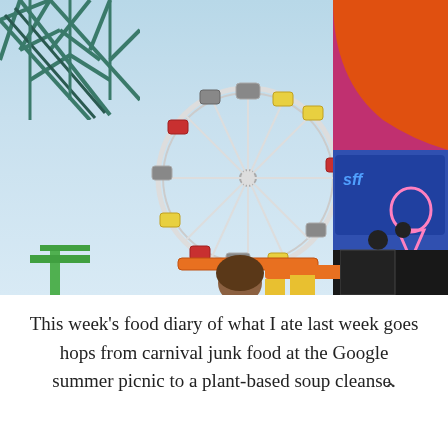[Figure (photo): Looking up view of a carnival/amusement park featuring a colorful Ferris wheel with red, yellow, green, blue gondolas, roller coaster structure in the top-left corner, and a bright pink/red building facade with blue signage and neon ice cream sign on the right side, against a light blue sky.]
This week's food diary of what I ate last week goes hops from carnival junk food at the Google summer picnic to a plant-based soup cleanse.